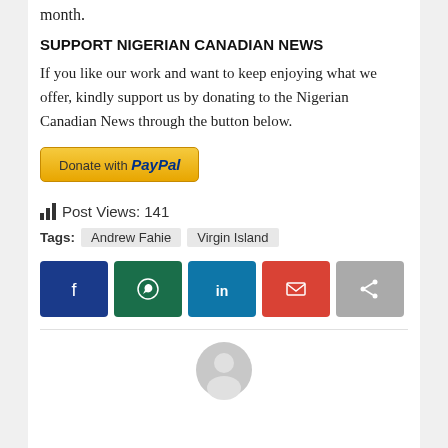month.
SUPPORT NIGERIAN CANADIAN NEWS
If you like our work and want to keep enjoying what we offer, kindly support us by donating to the Nigerian Canadian News through the button below.
[Figure (other): PayPal donate button - yellow/gold rounded rectangle with 'Donate with PayPal' text]
Post Views: 141
Tags: Andrew Fahie Virgin Island
[Figure (other): Row of social share buttons: Facebook (blue), WhatsApp (green), LinkedIn (light blue), Email (red), Share (grey)]
[Figure (other): Author avatar placeholder circle at bottom]